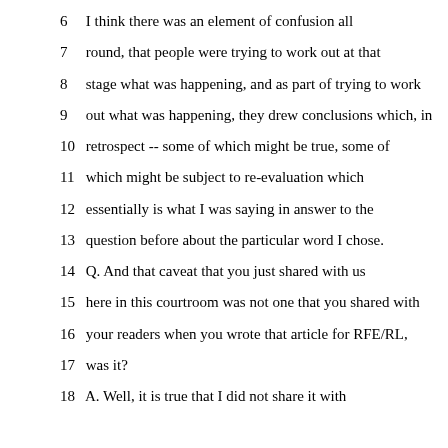6 I think there was an element of confusion all
7 round, that people were trying to work out at that
8 stage what was happening, and as part of trying to work
9 out what was happening, they drew conclusions which, in
10 retrospect -- some of which might be true, some of
11 which might be subject to re-evaluation which
12 essentially is what I was saying in answer to the
13 question before about the particular word I chose.
14 Q. And that caveat that you just shared with us
15 here in this courtroom was not one that you shared with
16 your readers when you wrote that article for RFE/RL,
17 was it?
18 A. Well, it is true that I did not share it with